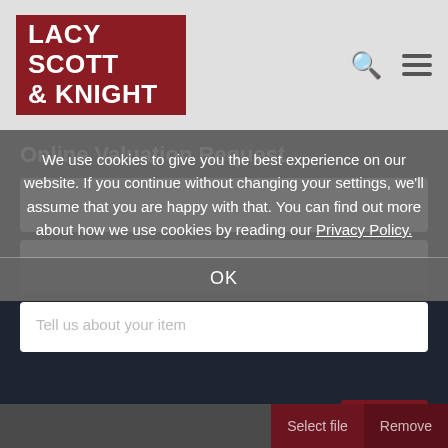[Figure (logo): Lacy Scott & Knight logo: white text on dark red background]
Online Valuation Request
Name
Email
Tell us about your item
We use cookies to give you the best experience on our website. If you continue without changing your settings, we'll assume that you are happy with that. You can find out more about how we use cookies by reading our Privacy Policy.
OK
Add file
Select file
Remove